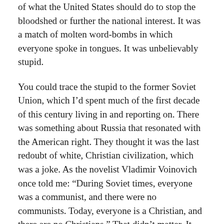of what the United States should do to stop the bloodshed or further the national interest. It was a match of molten word-bombs in which everyone spoke in tongues. It was unbelievably stupid.
You could trace the stupid to the former Soviet Union, which I’d spent much of the first decade of this century living in and reporting on. There was something about Russia that resonated with the American right. They thought it was the last redoubt of white, Christian civilization, which was a joke. As the novelist Vladimir Voinovich once told me: “During Soviet times, everyone was a communist, and there were no communists. Today, everyone is a Christian, and there are no Christians.” That didn’t matter. It was a powerful myth.
One story: In December 2007, I spent three days in Kiev—at the time, pretty much everyone spelled it Kiev—